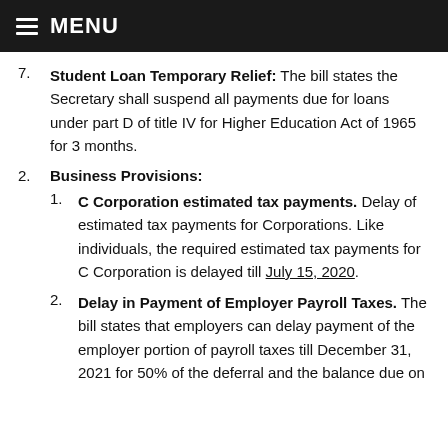MENU
Student Loan Temporary Relief: The bill states the Secretary shall suspend all payments due for loans under part D of title IV for Higher Education Act of 1965 for 3 months.
Business Provisions:
C Corporation estimated tax payments. Delay of estimated tax payments for Corporations. Like individuals, the required estimated tax payments for C Corporation is delayed till July 15, 2020.
Delay in Payment of Employer Payroll Taxes. The bill states that employers can delay payment of the employer portion of payroll taxes till December 31, 2021 for 50% of the deferral and the balance due on